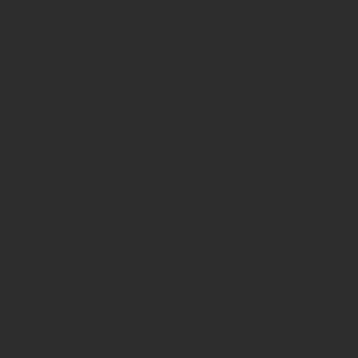implication that all media van de Merwe to a film a Canada. At any rate, it was Moraneau was implicitly in DISTRICT 9. For in h Blomkamp reaffirmed th the twilit, allegorical and indie docufeature fiction literary art that, as early good year of film, accura the arrival of the binary, world would create three the men and women wh understood the hardwar the neo computer enhan understood what could hardware and software, most successful and we the neo upper class of t eon; the men and wome how computers and the software and other digita inventory wands could a and the adult and teena